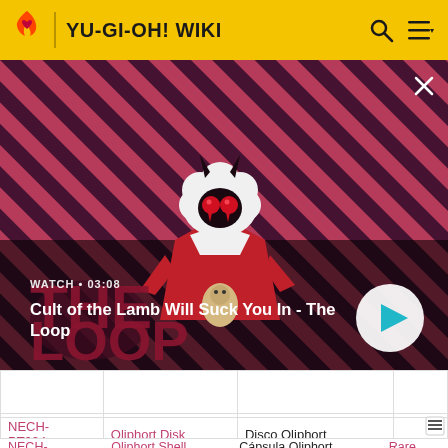YU-GI-OH! WIKI
[Figure (screenshot): Video thumbnail for 'Cult of the Lamb Will Suck You In - The Loop' showing animated lamb character with devil horns on a red and dark diagonal striped background. Overlay text: WATCH • 03:08. Play button circle visible bottom right.]
| Set | Card name | Name (PT) | Rarity |
| --- | --- | --- | --- |
| NECH-PT024 | Qliphort Disk | Disco Qliphort | Rare |
| NECH- | Qliphort Shell | Cápsula Qliphort | Rare |